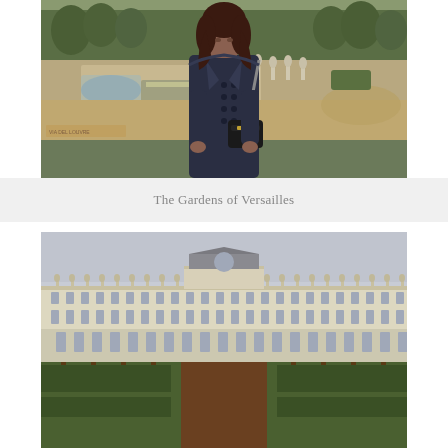[Figure (photo): A woman in a dark navy coat standing in front of the Gardens of Versailles, with fountains, sculptures, and manicured hedges in the background.]
The Gardens of Versailles
[Figure (photo): A wide-angle view of the Palace of Versailles facade from the garden side, showing the long ornate building with manicured hedgerows in the foreground under an overcast sky.]